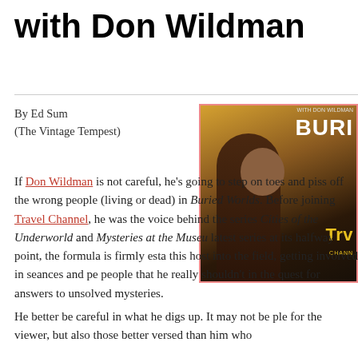with Don Wildman
By Ed Sum
(The Vintage Tempest)
[Figure (photo): Promotional image for Buried Worlds on Travel Channel featuring Don Wildman against a dark background, with the show title 'BURI[ED WORLDS]' and Travel Channel logo visible]
If Don Wildman is not careful, he's going to step on toes and piss off the wrong people (living or dead) in Buried Worlds. Before joining Travel Channel, he was the voice behind the series Cities of the Underworld and Mysteries at the Museu[m]. latest series at its halfway point, the formula is firmly esta[blished] this host into the field, getting involved in seances and pe[ople] people that he really shouldn't in the quest for answers to unsolved mysteries.
He better be careful in what he digs up. It may not be ple[asant] for the viewer, but also those better versed than him who[...]